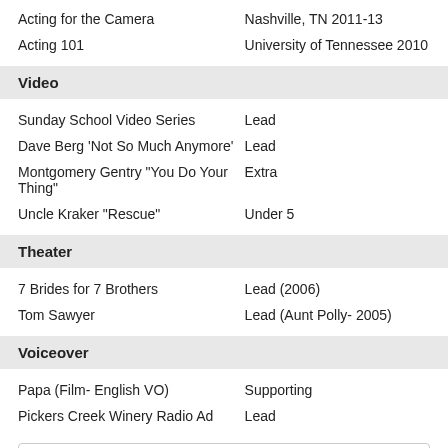Acting for the Camera — Nashville, TN 2011-13
Acting 101 — University of Tennessee 2010
Video
Sunday School Video Series — Lead
Dave Berg 'Not So Much Anymore' — Lead
Montgomery Gentry "You Do Your Thing" — Extra
Uncle Kraker "Rescue" — Under 5
Theater
7 Brides for 7 Brothers — Lead (2006)
Tom Sawyer — Lead (Aunt Polly- 2005)
Voiceover
Papa (Film- English VO) — Supporting
Pickers Creek Winery Radio Ad — Lead